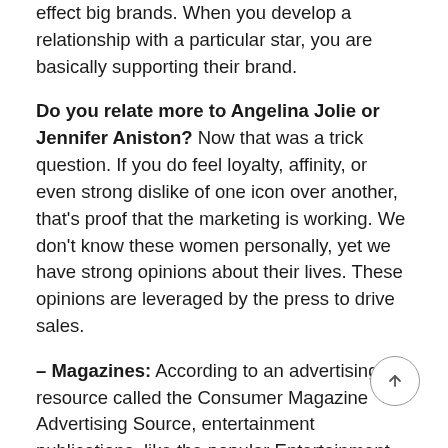effect big brands. When you develop a relationship with a particular star, you are basically supporting their brand.
Do you relate more to Angelina Jolie or Jennifer Aniston? Now that was a trick question. If you do feel loyalty, affinity, or even strong dislike of one icon over another, that's proof that the marketing is working. We don't know these women personally, yet we have strong opinions about their lives. These opinions are leveraged by the press to drive sales.
– Magazines: According to an advertising resource called the Consumer Magazine Advertising Source, entertainment publications, like the popular Entertainment Weekly and the nefarious National Enquirer, sell around five million copies on a weekly basis. This is a huge amount of money. As long as people buy, magazines will keep providing us with celebrity news. Paparazzi will keep chasing